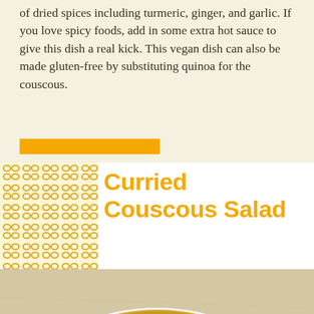of dried spices including turmeric, ginger, and garlic. If you love spicy foods, add in some extra hot sauce to give this dish a real kick. This vegan dish can also be made gluten-free by substituting quinoa for the couscous.
[Figure (illustration): Orange decorative horizontal bar]
Curried Couscous Salad
[Figure (photo): A white bowl filled with curried couscous salad topped with chickpeas, tomatoes, raisins, and fresh parsley/cilantro. Wooden spoons visible on the left, light fabric on the right. Photographed from above on a marble/stone surface.]